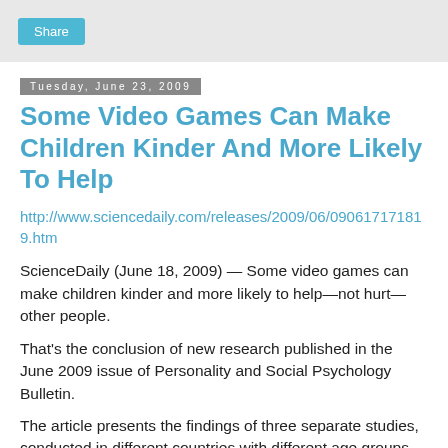Share
Tuesday, June 23, 2009
Some Video Games Can Make Children Kinder And More Likely To Help
http://www.sciencedaily.com/releases/2009/06/090617171819.htm
ScienceDaily (June 18, 2009) — Some video games can make children kinder and more likely to help—not hurt—other people.
That's the conclusion of new research published in the June 2009 issue of Personality and Social Psychology Bulletin.
The article presents the findings of three separate studies, conducted in different countries with different age groups, and using different scientific approaches. All the studies find